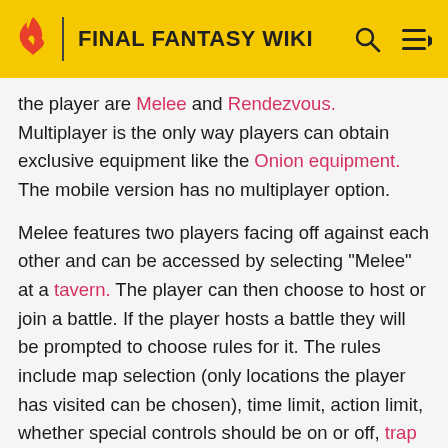FINAL FANTASY WIKI
the player are Melee and Rendezvous. Multiplayer is the only way players can obtain exclusive equipment like the Onion equipment. The mobile version has no multiplayer option.
Melee features two players facing off against each other and can be accessed by selecting "Melee" at a tavern. The player can then choose to host or join a battle. If the player hosts a battle they will be prompted to choose rules for it. The rules include map selection (only locations the player has visited can be chosen), time limit, action limit, whether special controls should be on or off, trap placement, number of traps, and whether Arithmeticks should be allowed or not. After setting the rules the battle